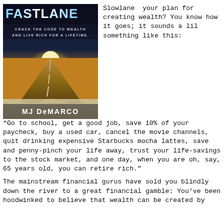[Figure (illustration): Book cover of 'The Millionaire Fastlane' by MJ DeMarco. Shows a road stretching into a sunset horizon with 'CRACK THE CODE TO WEALTH AND LIVE RICH FOR A LIFETIME' subtitle. Author name 'MJ DeMARCO' at the bottom.]
Slowlane — your plan for creating wealth? You know how it goes; it sounds a lil something like this:
"Go to school, get a good job, save 10% of your paycheck, buy a used car, cancel the movie channels, quit drinking expensive Starbucks mocha lattes, save and penny-pinch your life away, trust your life-savings to the stock market, and one day, when you are oh, say, 65 years old, you can retire rich."
The mainstream financial gurus have sold you blindly down the river to a great financial gamble: You've been hoodwinked to believe that wealth can be created by